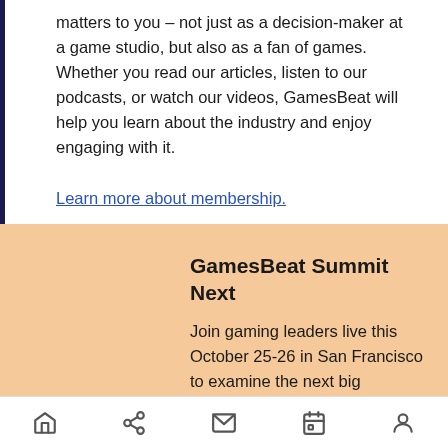matters to you – not just as a decision-maker at a game studio, but also as a fan of games. Whether you read our articles, listen to our podcasts, or watch our videos, GamesBeat will help you learn about the industry and enjoy engaging with it. Learn more about membership.
GamesBeat Summit Next
Join gaming leaders live this October 25-26 in San Francisco to examine the next big opportunities within the gaming industry such as esports, user-generated content,
Home | Share | Email | Calendar | Profile